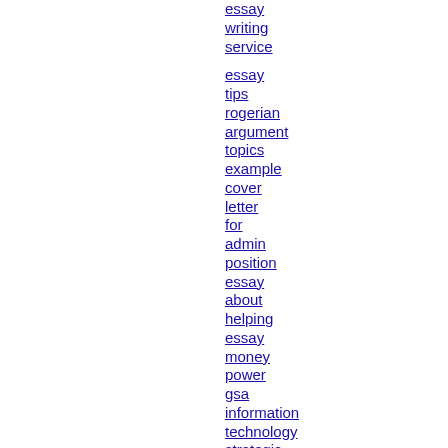essay writing service
essay tips rogerian argument topics example cover letter for admin position essay about helping essay money power gsa information technology strategic business plan georgetown